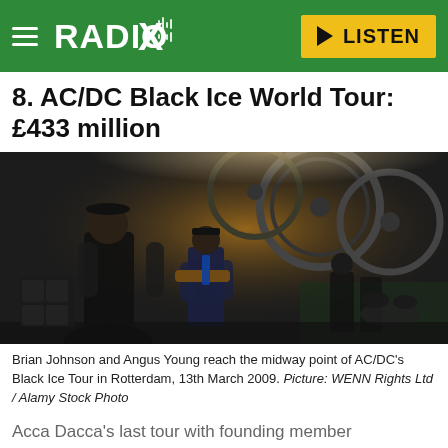RADIO X  LISTEN
8. AC/DC Black Ice World Tour: £433 million
[Figure (photo): Brian Johnson and Angus Young of AC/DC performing on stage, with large train wheels as backdrop scenery. Brian Johnson on left in sleeveless vest and flat cap, Angus Young center in school uniform, other band members visible in background.]
Brian Johnson and Angus Young reach the midway point of AC/DC's Black Ice Tour in Rotterdam, 13th March 2009. Picture: WENN Rights Ltd / Alamy Stock Photo
Acca Dacca's last tour with founding member